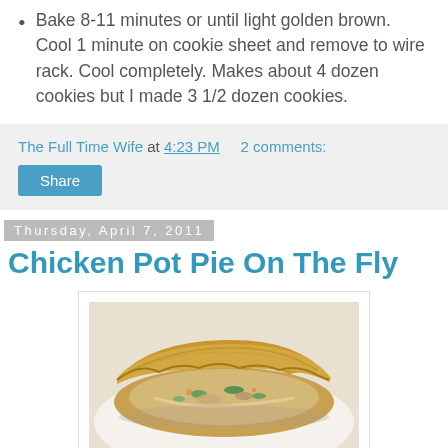Bake 8-11 minutes or until light golden brown. Cool 1 minute on cookie sheet and remove to wire rack. Cool completely. Makes about 4 dozen cookies but I made 3 1/2 dozen cookies.
The Full Time Wife at 4:23 PM   2 comments:
Share
Thursday, April 7, 2011
Chicken Pot Pie On The Fly
[Figure (photo): A slice of chicken pot pie on a white plate, showing golden brown pastry crust and filling with chicken, celery, and vegetables in a creamy sauce.]